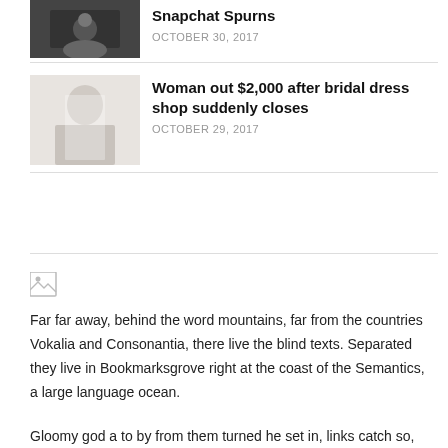[Figure (photo): Dark blurry thumbnail image (partial, top of article)]
Snapchat Spurns
OCTOBER 30, 2017
[Figure (photo): Light blurry bridal dress shop thumbnail image]
Woman out $2,000 after bridal dress shop suddenly closes
OCTOBER 29, 2017
[Figure (photo): Broken image placeholder icon]
Far far away, behind the word mountains, far from the countries Vokalia and Consonantia, there live the blind texts. Separated they live in Bookmarksgrove right at the coast of the Semantics, a large language ocean.
Gloomy god a to by from them turned he set in, links catch so, built